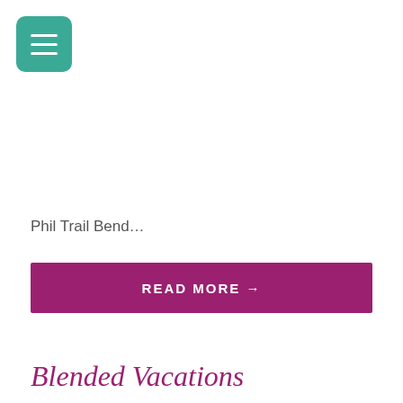[Figure (other): Teal/green hamburger menu icon button with three white horizontal lines on a rounded square background]
Phil Trail Bend…
READ MORE →
Blended Vacations